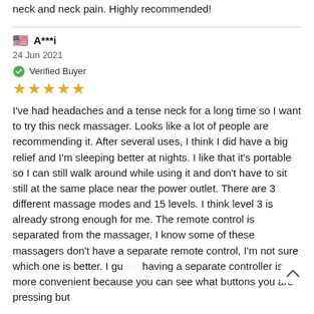neck and neck pain. Highly recommended!
A***i
24 Jun 2021
Verified Buyer
★★★★★
I've had headaches and a tense neck for a long time so I want to try this neck massager. Looks like a lot of people are recommending it. After several uses, I think I did have a big relief and I'm sleeping better at nights. I like that it's portable so I can still walk around while using it and don't have to sit still at the same place near the power outlet. There are 3 different massage modes and 15 levels. I think level 3 is already strong enough for me. The remote control is separated from the massager, I know some of these massagers don't have a separate remote control, I'm not sure which one is better. I guess having a separate controller is more convenient because you can see what buttons you are pressing but